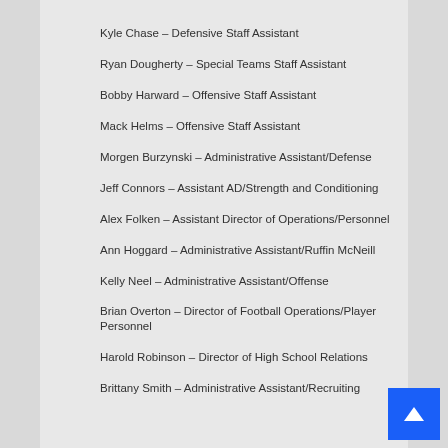Kyle Chase – Defensive Staff Assistant
Ryan Dougherty – Special Teams Staff Assistant
Bobby Harward – Offensive Staff Assistant
Mack Helms – Offensive Staff Assistant
Morgen Burzynski – Administrative Assistant/Defense
Jeff Connors – Assistant AD/Strength and Conditioning
Alex Folken – Assistant Director of Operations/Personnel
Ann Hoggard – Administrative Assistant/Ruffin McNeill
Kelly Neel – Administrative Assistant/Offense
Brian Overton – Director of Football Operations/Player Personnel
Harold Robinson – Director of High School Relations
Brittany Smith – Administrative Assistant/Recruiting